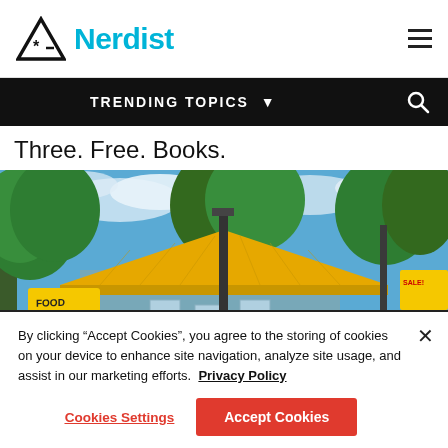Nerdist
TRENDING TOPICS
Three. Free. Books.
[Figure (photo): Exterior of a bookstore with a yellow roof, blue siding, and a sign reading 'FOOD BOOKS' on a yellow background, surrounded by green trees and a partly cloudy sky.]
By clicking “Accept Cookies”, you agree to the storing of cookies on your device to enhance site navigation, analyze site usage, and assist in our marketing efforts. Privacy Policy
Cookies Settings | Accept Cookies